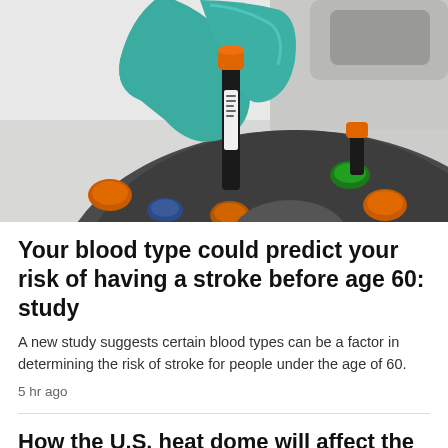[Figure (photo): A gloved hand (teal/green medical glove) holding a blood sample vial with an orange cap, being inserted into a laboratory centrifuge or sample holder with multiple sample slots visible.]
Your blood type could predict your risk of having a stroke before age 60: study
A new study suggests certain blood types can be a factor in determining the risk of stroke for people under the age of 60.
5 hr ago
How the U.S. heat dome will affect the long